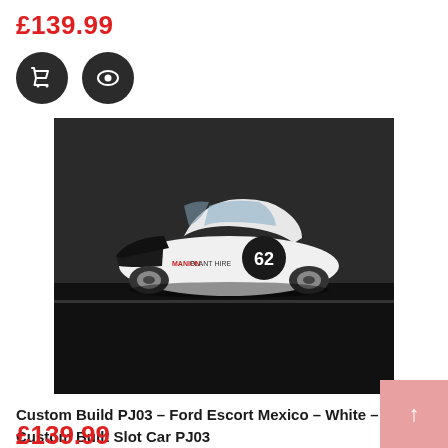£139.99
[Figure (other): Shopping cart icon button and eye/view icon button, both dark circular buttons]
[Figure (photo): Photo of a white and black Ford Escort Mexico slot car model number 62 with MANION PLANT HIRE livery on a slot car track]
Custom Build PJ03 – Ford Escort Mexico – White – New – Custom Built Slot Car PJ03
£139.99